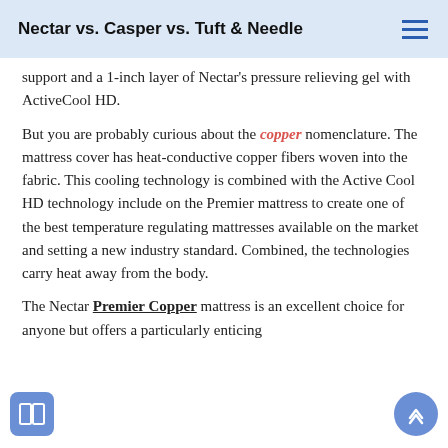Nectar vs. Casper vs. Tuft & Needle
support and a 1-inch layer of Nectar's pressure relieving gel with ActiveCool HD.
But you are probably curious about the copper nomenclature. The mattress cover has heat-conductive copper fibers woven into the fabric. This cooling technology is combined with the Active Cool HD technology include on the Premier mattress to create one of the best temperature regulating mattresses available on the market and setting a new industry standard. Combined, the technologies carry heat away from the body.
The Nectar Premier Copper mattress is an excellent choice for anyone but offers a particularly enticing